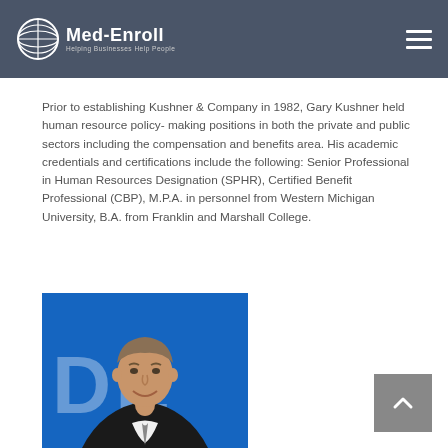Med-Enroll — Helping Businesses Help People
Prior to establishing Kushner & Company in 1982, Gary Kushner held human resource policy- making positions in both the private and public sectors including the compensation and benefits area. His academic credentials and certifications include the following: Senior Professional in Human Resources Designation (SPHR), Certified Benefit Professional (CBP), M.P.A. in personnel from Western Michigan University, B.A. from Franklin and Marshall College.
[Figure (photo): Professional headshot of Gary Kushner, a middle-aged man in a suit, smiling, with a blue background partially showing letters 'DE'.]